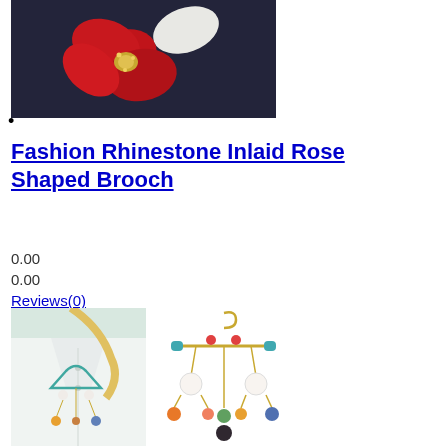[Figure (photo): Close-up photo of a red and white flower-shaped rhinestone brooch on a dark navy/black background]
•
Fashion Rhinestone Inlaid Rose Shaped Brooch
0.00
0.00
Reviews(0)
[Figure (photo): Photo of a colorful hanger-shaped brooch worn on a white shirt collar, and a product image of the brooch showing a gold hanger with teal enamel, pearl drops, and colorful charms hanging by chains]
[Figure (photo): Product photo of the hanger brooch isolated on white background]